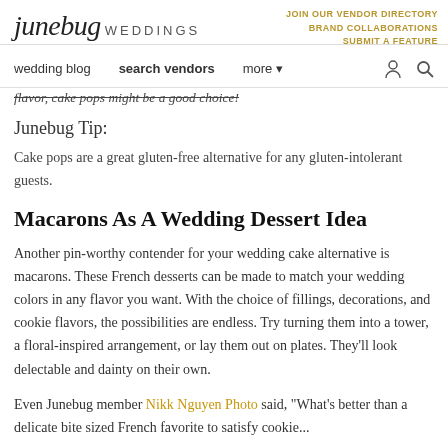junebug WEDDINGS | JOIN OUR VENDOR DIRECTORY | BRAND COLLABORATIONS | SUBMIT A FEATURE | wedding blog | search vendors | more
flavor, cake pops might be a good choice!
Junebug Tip:
Cake pops are a great gluten-free alternative for any gluten-intolerant guests.
Macarons As A Wedding Dessert Idea
Another pin-worthy contender for your wedding cake alternative is macarons. These French desserts can be made to match your wedding colors in any flavor you want. With the choice of fillings, decorations, and cookie flavors, the possibilities are endless. Try turning them into a tower, a floral-inspired arrangement, or lay them out on plates. They'll look delectable and dainty on their own.
Even Junebug member Nikk Nguyen Photo said, "What's better than a delicate bite sized French favorite to satisfy cookie...